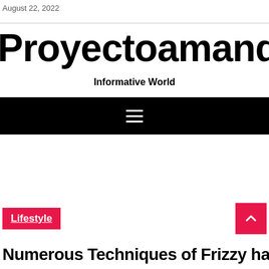August 22, 2022
Proyectoamanda.co
Informative World
[Figure (other): Black navigation bar with hamburger menu icon (three white horizontal lines)]
Lifestyle
Numerous Techniques of Frizzy hair